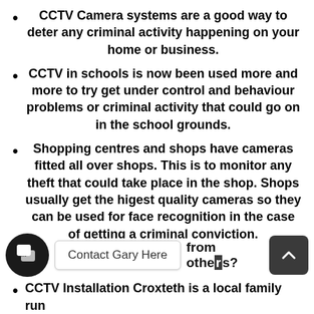CCTV Camera systems are a good way to deter any criminal activity happening on your home or business.
CCTV in schools is now been used more and more to try get under control and behaviour problems or criminal activity that could go on in the school grounds.
Shopping centres and shops have cameras fitted all over shops. This is to monitor any theft that could take place in the shop. Shops usually get the higest quality cameras so they can be used for face recognition in the case of getting a criminal conviction.
[Figure (screenshot): Chat widget icon, Contact Gary Here button, 'from others?' text, and a scroll-up arrow button overlay at the bottom of the page.]
CCTV Installation Croxteth is a local family run